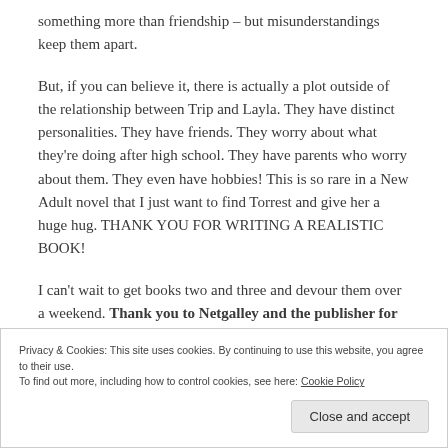something more than friendship – but misunderstandings keep them apart.
But, if you can believe it, there is actually a plot outside of the relationship between Trip and Layla. They have distinct personalities. They have friends. They worry about what they're doing after high school. They have parents who worry about them. They even have hobbies! This is so rare in a New Adult novel that I just want to find Torrest and give her a huge hug. THANK YOU FOR WRITING A REALISTIC BOOK!
I can't wait to get books two and three and devour them over a weekend. Thank you to Netgalley and the publisher for the
Privacy & Cookies: This site uses cookies. By continuing to use this website, you agree to their use.
To find out more, including how to control cookies, see here: Cookie Policy
Close and accept